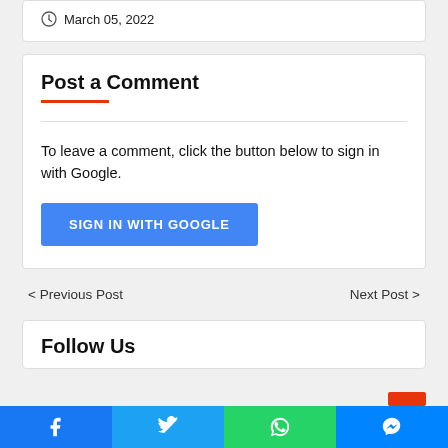March 05, 2022
Post a Comment
To leave a comment, click the button below to sign in with Google.
SIGN IN WITH GOOGLE
< Previous Post
Next Post >
Follow Us
[Figure (other): Social share bar with Facebook, Twitter, WhatsApp, and Messenger icons]